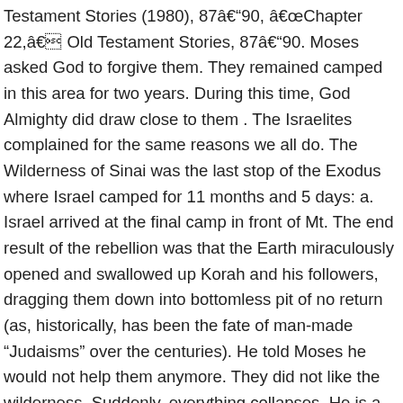Testament Stories (1980), 87â90, âChapter 22,â Old Testament Stories, 87â90. Moses asked God to forgive them. They remained camped in this area for two years. During this time, God Almighty did draw close to them . The Israelites complained for the same reasons we all do. The Wilderness of Sinai was the last stop of the Exodus where Israel camped for 11 months and 5 days: a. Israel arrived at the final camp in front of Mt. The end result of the rebellion was that the Earth miraculously opened and swallowed up Korah and his followers, dragging them down into bottomless pit of no return (as, historically, has been the fate of man-made “Judaisms” over the centuries). He told Moses he would not help them anymore. They did not like the wilderness. Suddenly, everything collapses. He is a prophet, soothsayer and “holy”